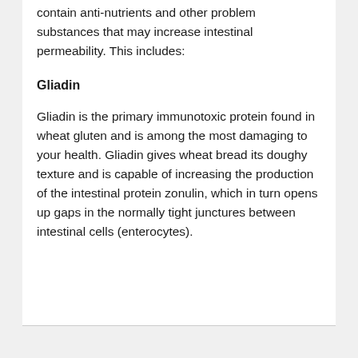contain anti-nutrients and other problem substances that may increase intestinal permeability. This includes:
Gliadin
Gliadin is the primary immunotoxic protein found in wheat gluten and is among the most damaging to your health. Gliadin gives wheat bread its doughy texture and is capable of increasing the production of the intestinal protein zonulin, which in turn opens up gaps in the normally tight junctures between intestinal cells (enterocytes).